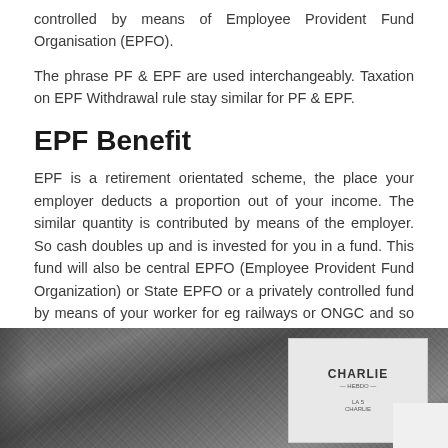controlled by means of Employee Provident Fund Organisation (EPFO).
The phrase PF & EPF are used interchangeably. Taxation on EPF Withdrawal rule stay similar for PF & EPF.
EPF Benefit
EPF is a retirement orientated scheme, the place your employer deducts a proportion out of your income. The similar quantity is contributed by means of the employer. So cash doubles up and is invested for you in a fund. This fund will also be central EPFO (Employee Provident Fund Organization) or State EPFO or a privately controlled fund by means of your worker for eg railways or ONGC and so forth.
EPF contribution will get outlined returns. This way it really works like an FD. It additionally will give you tax receive advantages within the 12 months of contribution as much as INR 1.five Lakhs.
[Figure (photo): Black and white photograph of a stone wall or rocky surface with a magazine (Charlie Hebdo) visible on the right side, and a white rectangular element in the bottom right corner.]